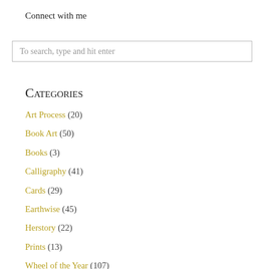Connect with me
To search, type and hit enter
Categories
Art Process (20)
Book Art (50)
Books (3)
Calligraphy (41)
Cards (29)
Earthwise (45)
Herstory (22)
Prints (13)
Wheel of the Year (107)